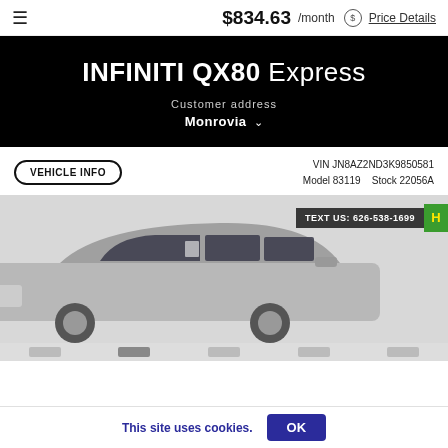≡   $834.63 /month  ⓢ Price Details
INFINITI QX80 Express
Customer address
Monrovia ˅
VEHICLE INFO   VIN JN8AZ2ND3K9850581   Model 83119   Stock 22056A
[Figure (photo): Photo of a silver/white Infiniti QX80 SUV, side/front 3/4 view, with a dark overlay badge reading 'TEXT US: 626-538-1699' and a green badge with yellow H letter in top right corner.]
This site uses cookies.
OK